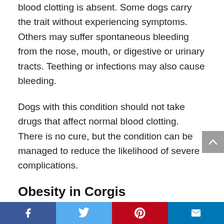blood clotting is absent. Some dogs carry the trait without experiencing symptoms. Others may suffer spontaneous bleeding from the nose, mouth, or digestive or urinary tracts. Teething or infections may also cause bleeding.
Dogs with this condition should not take drugs that affect normal blood clotting. There is no cure, but the condition can be managed to reduce the likelihood of severe complications.
Obesity in Corgis
Because their short legs put them low to the ground and they have long backs, being overweight can be